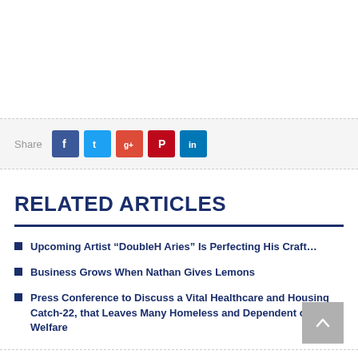Share
RELATED ARTICLES
Upcoming Artist “DoubleH Aries” Is Perfecting His Craft…
Business Grows When Nathan Gives Lemons
Press Conference to Discuss a Vital Healthcare and Housing Catch-22, that Leaves Many Homeless and Dependent on Welfare